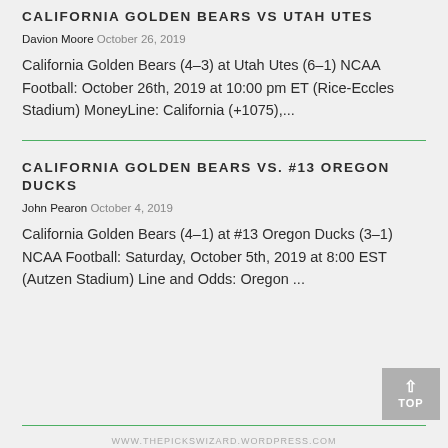CALIFORNIA GOLDEN BEARS VS UTAH UTES
Davion Moore October 26, 2019
California Golden Bears (4-3) at Utah Utes (6-1) NCAA Football: October 26th, 2019 at 10:00 pm ET (Rice-Eccles Stadium) MoneyLine: California (+1075),...
CALIFORNIA GOLDEN BEARS VS. #13 OREGON DUCKS
John Pearon October 4, 2019
California Golden Bears (4-1) at #13 Oregon Ducks (3-1) NCAA Football: Saturday, October 5th, 2019 at 8:00 EST (Autzen Stadium) Line and Odds: Oregon ...